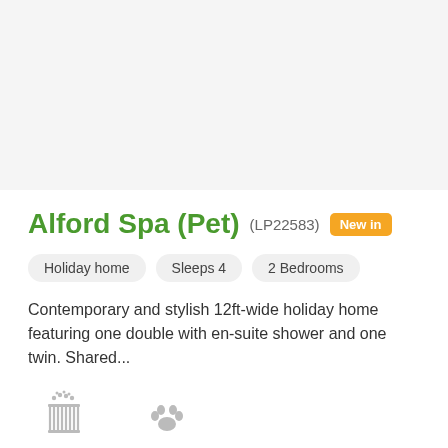[Figure (photo): Property photo placeholder area (white/light gray background)]
Alford Spa (Pet) (LP22583) New in
Holiday home  Sleeps 4  2 Bedrooms
Contemporary and stylish 12ft-wide holiday home featuring one double with en-suite shower and one twin. Shared...
Hot Tub  Pet Friendly
Prices from